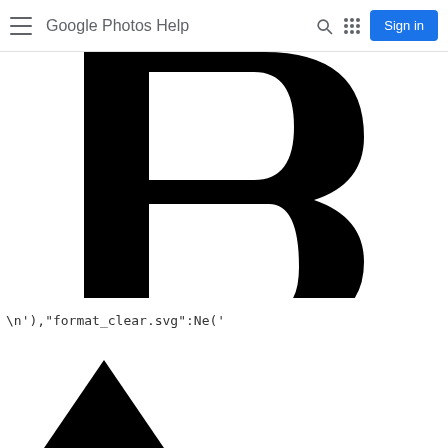Google Photos Help
[Figure (illustration): Large black bold letter B on white background, partially cropped at top]
\n'),"format_clear.svg":Ne('
[Figure (illustration): Black triangle arrow pointing upward, partially cropped at bottom left]